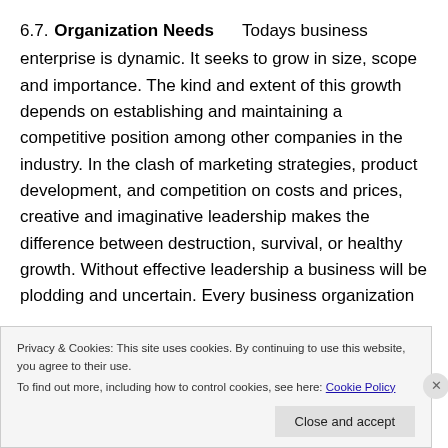6.7. Organization Needs
Todays business enterprise is dynamic. It seeks to grow in size, scope and importance. The kind and extent of this growth depends on establishing and maintaining a competitive position among other companies in the industry. In the clash of marketing strategies, product development, and competition on costs and prices, creative and imaginative leadership makes the difference between destruction, survival, or healthy growth. Without effective leadership a business will be plodding and uncertain. Every business organization
Privacy & Cookies: This site uses cookies. By continuing to use this website, you agree to their use.
To find out more, including how to control cookies, see here: Cookie Policy